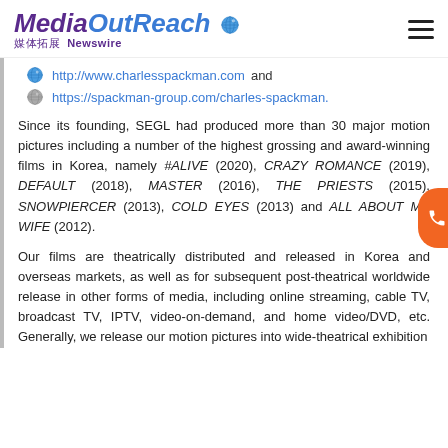MediaOutReach 媒体拓展 Newswire
http://www.charlesspackman.com and
https://spackman-group.com/charles-spackman.
Since its founding, SEGL had produced more than 30 major motion pictures including a number of the highest grossing and award-winning films in Korea, namely #ALIVE (2020), CRAZY ROMANCE (2019), DEFAULT (2018), MASTER (2016), THE PRIESTS (2015), SNOWPIERCER (2013), COLD EYES (2013) and ALL ABOUT MY WIFE (2012).
Our films are theatrically distributed and released in Korea and overseas markets, as well as for subsequent post-theatrical worldwide release in other forms of media, including online streaming, cable TV, broadcast TV, IPTV, video-on-demand, and home video/DVD, etc. Generally, we release our motion pictures into wide-theatrical exhibition